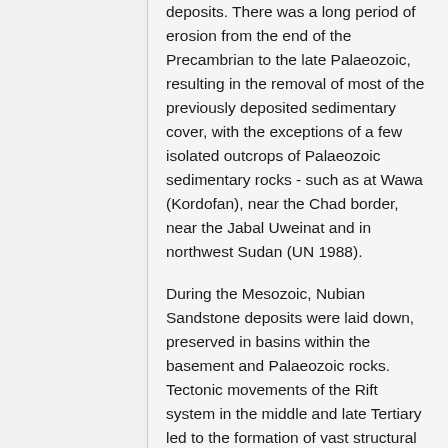deposits. There was a long period of erosion from the end of the Precambrian to the late Palaeozoic, resulting in the removal of most of the previously deposited sedimentary cover, with the exceptions of a few isolated outcrops of Palaeozoic sedimentary rocks - such as at Wawa (Kordofan), near the Chad border, near the Jabal Uweinat and in northwest Sudan (UN 1988).
During the Mesozoic, Nubian Sandstone deposits were laid down, preserved in basins within the basement and Palaeozoic rocks. Tectonic movements of the Rift system in the middle and late Tertiary led to the formation of vast structural basins, such as the Bara, Dinder and Baggara. A volcanic phase throughout the late Tertiary and into the early Quaternary produced the Jabel